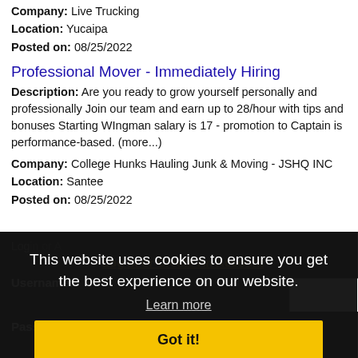Company: Live Trucking
Location: Yucaipa
Posted on: 08/25/2022
Professional Mover - Immediately Hiring
Description: Are you ready to grow yourself personally and professionally Join our team and earn up to 28/hour with tips and bonuses Starting WIngman salary is 17 - promotion to Captain is performance-based. (more...)
Company: College Hunks Hauling Junk & Moving - JSHQ INC
Location: Santee
Posted on: 08/25/2022
This website uses cookies to ensure you get the best experience on our website.
Learn more
Log In or Create An Account
Username:
Got it!
Password: